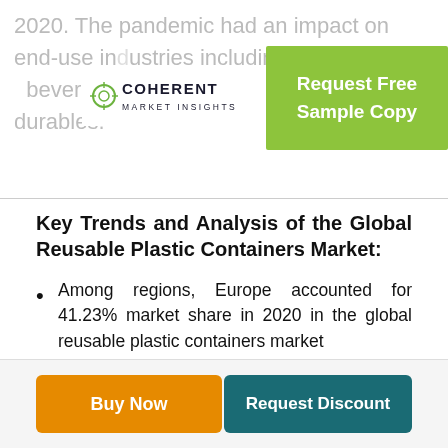2020. The pandemic had an impact on end-use industries including as food, beverage, automotive, and consumer durables.
[Figure (logo): Coherent Market Insights logo with crosshair dot symbol]
[Figure (other): Green button overlay: Request Free Sample Copy]
Key Trends and Analysis of the Global Reusable Plastic Containers Market:
Among regions, Europe accounted for 41.23% market share in 2020 in the global reusable plastic containers market
The demand for one-time use packaging for food, drinks, and others is increasing rapidly. Therefore, plastic containers are
Buy Now
Request Discount